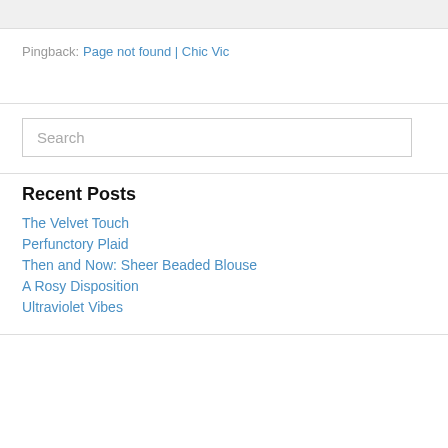Pingback: Page not found | Chic Vic
Search
Recent Posts
The Velvet Touch
Perfunctory Plaid
Then and Now: Sheer Beaded Blouse
A Rosy Disposition
Ultraviolet Vibes